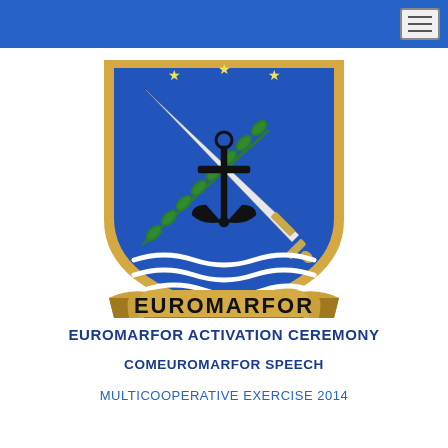[Figure (logo): EUROMARFOR military coat of arms: a blue shield with a black anchor, a white sword, and a green olive branch, with white waves at the bottom, surrounded by a gold border, and a gold banner below reading EUROMARFOR]
EUROMARFOR ACTIVATION CEREMONY
COMEUROMARFOR SPEECH
MULTICOOPERATIVE EXERCISE 2014